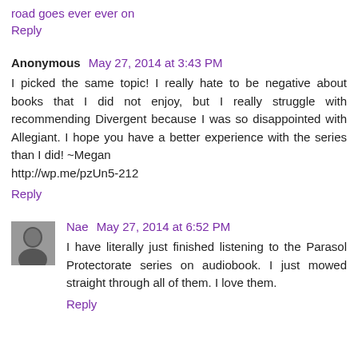road goes ever ever on
Reply
Anonymous May 27, 2014 at 3:43 PM
I picked the same topic! I really hate to be negative about books that I did not enjoy, but I really struggle with recommending Divergent because I was so disappointed with Allegiant. I hope you have a better experience with the series than I did! ~Megan
http://wp.me/pzUn5-212
Reply
Nae May 27, 2014 at 6:52 PM
I have literally just finished listening to the Parasol Protectorate series on audiobook. I just mowed straight through all of them. I love them.
Reply